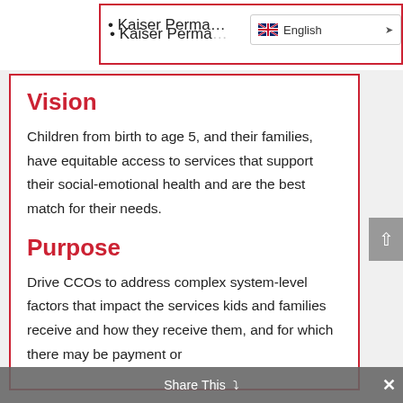Kaiser Perma…
Vision
Children from birth to age 5, and their families, have equitable access to services that support their social-emotional health and are the best match for their needs.
Purpose
Drive CCOs to address complex system-level factors that impact the services kids and families receive and how they receive them, and for which there may be payment or
Share This